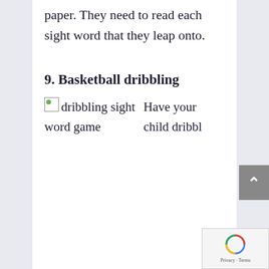paper. They need to read each sight word that they leap onto.
9. Basketball dribbling
[Figure (photo): Broken/loading image placeholder labeled 'dribbling sight word game']
Have your child dribbl